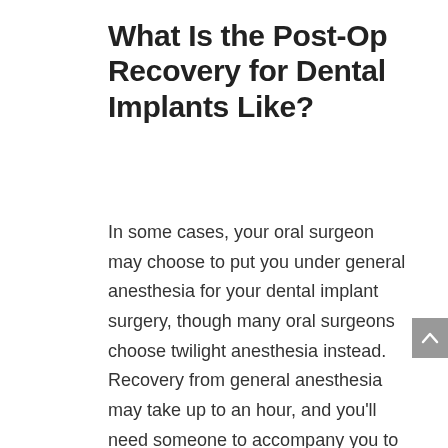What Is the Post-Op Recovery for Dental Implants Like?
In some cases, your oral surgeon may choose to put you under general anesthesia for your dental implant surgery, though many oral surgeons choose twilight anesthesia instead. Recovery from general anesthesia may take up to an hour, and you'll need someone to accompany you to and from the surgery to make sure you get home safely, which twilight anesthesia requires